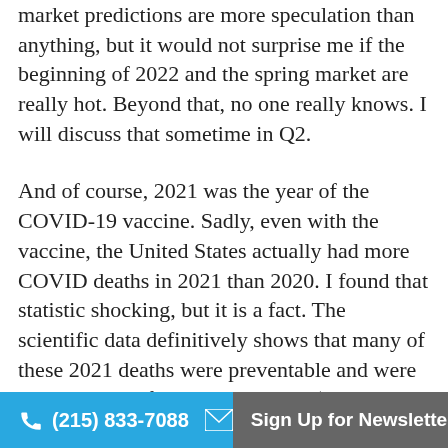market predictions are more speculation than anything, but it would not surprise me if the beginning of 2022 and the spring market are really hot. Beyond that, no one really knows. I will discuss that sometime in Q2.
And of course, 2021 was the year of the COVID-19 vaccine. Sadly, even with the vaccine, the United States actually had more COVID deaths in 2021 than 2020. I found that statistic shocking, but it is a fact. The scientific data definitively shows that many of these 2021 deaths were preventable and were due to a lack of vaccine adoption (in all age groups). This is scientific fact (see here, here, and here, as well as numerous other sources). And as we move towards the start of winter, the positivity rates are starting to come back up in Philly and
(215) 833-7088   Sign Up for Newsletter